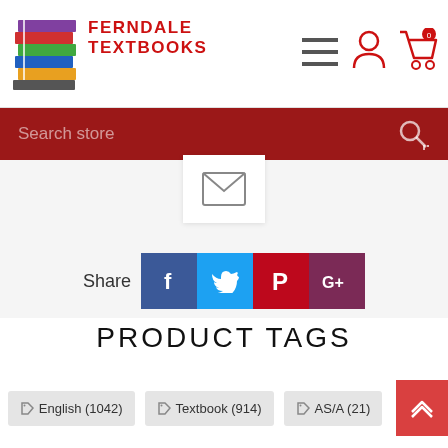Ferndale Textbooks
Search store
[Figure (other): Email/envelope icon in white box]
Share
[Figure (infographic): Social share buttons: Facebook, Twitter, Pinterest, Google+]
PRODUCT TAGS
English (1042)
Textbook (914)
AS/A (21)